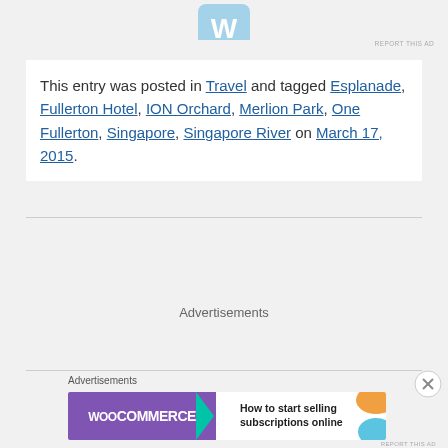[Figure (logo): WordPress logo icon, blue circle with W, partial view at top]
REPORT THIS AD
This entry was posted in Travel and tagged Esplanade, Fullerton Hotel, ION Orchard, Merlion Park, One Fullerton, Singapore, Singapore River on March 17, 2015.
Advertisements
Advertisements
[Figure (screenshot): WooCommerce advertisement banner: purple left side with WooCommerce logo and arrow, white right side with text 'How to start selling subscriptions online', orange and blue decorative shapes]
REPORT THIS AD